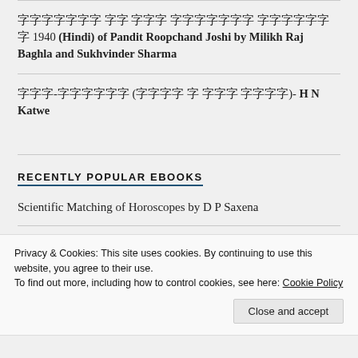॥हिन्दी अनु॥ 1940 (Hindi) of Pandit Roopchand Joshi by Milikh Raj Baghla and Sukhvinder Sharma
राज-जोतिष (राजा व राज शास्त्र)- H N Katwe
RECENTLY POPULAR EBOOKS
Scientific Matching of Horoscopes by D P Saxena
Gayatri Devi Vasudev – The Art of Matching Charts
Privacy & Cookies: This site uses cookies. By continuing to use this website, you agree to their use.
To find out more, including how to control cookies, see here: Cookie Policy